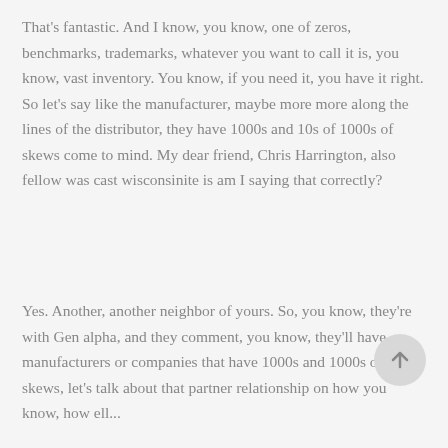That's fantastic. And I know, you know, one of zeros, benchmarks, trademarks, whatever you want to call it is, you know, vast inventory. You know, if you need it, you have it right. So let's say like the manufacturer, maybe more more along the lines of the distributor, they have 1000s and 10s of 1000s of skews come to mind. My dear friend, Chris Harrington, also fellow was cast wisconsinite is am I saying that correctly?
Yes. Another, another neighbor of yours. So, you know, they're with Gen alpha, and they comment, you know, they'll have manufacturers or companies that have 1000s and 1000s of skews, let's talk about that partner relationship on how you know, how ell...